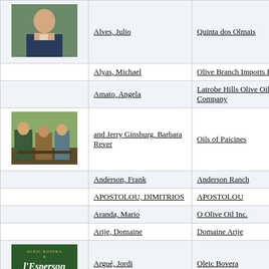| Photo | Name | Organization |
| --- | --- | --- |
| [photo: man in suit] | Alves, Julio | Quinta dos Olmais |
|  | Alyas, Michael | Olive Branch Imports LLC |
|  | Amato, Angela | Latrobe Hills Olive Oil Company |
| [photo: group of people] | and Jerry Ginsburg, Barbara Rever | Oils of Paicines |
|  | Anderson, Frank | Anderson Ranch |
|  | APOSTOLOU, DIMITRIOS | APOSTOLOU |
|  | Aranda, Mario | O Olive Oil Inc. |
|  | Arije, Domaine | Domaine Arije |
| [logo: Oleic Bovera] | Argué, Jordi | Oleic Bovera |